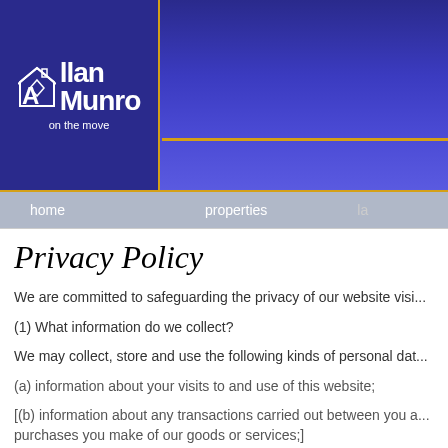[Figure (logo): Allan Munro 'on the move' real estate logo with house icon on dark blue background]
home   properties
Privacy Policy
We are committed to safeguarding the privacy of our website visi...
(1) What information do we collect?
We may collect, store and use the following kinds of personal dat...
(a) information about your visits to and use of this website;
[(b) information about any transactions carried out between you a... purchases you make of our goods or services;]
[(c) information that you provide to us for the purpose of registerin... notifications; and]